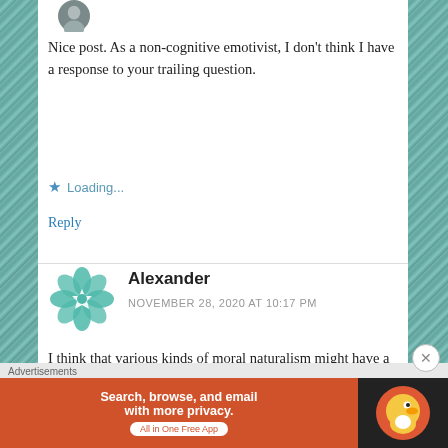[Figure (illustration): Partial avatar photo of a person, cropped at top]
Nice post. As a non-cognitive emotivist, I don't think I have a response to your trailing question.
Loading...
Reply
[Figure (logo): Teal geometric flower/snowflake avatar for user Alexander]
Alexander
NOVEMBER 28, 2020 AT 10:17 PM
I think that various kinds of moral naturalism might have a better chance at meeting the
Advertisements
[Figure (screenshot): DuckDuckGo advertisement banner: Search, browse, and email with more privacy. All in One Free App]